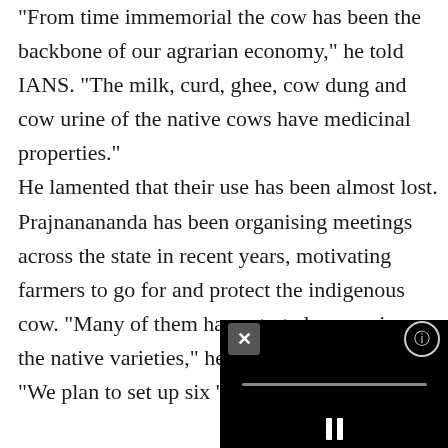"From time immemorial the cow has been the backbone of our agrarian economy," he told IANS. "The milk, curd, ghee, cow dung and cow urine of the native cows have medicinal properties." He lamented that their use has been almost lost. Prajnanananda has been organising meetings across the state in recent years, motivating farmers to go for and protect the indigenous cow. "Many of them have started preserving the native varieties," he said. "We plan to set up six 'goshalas' (cow shelters) in Odisha to preserve the native... The native cow's population... 13,144,359 in 2003. This fell to 10,519,195 according
[Figure (screenshot): A black video player overlay with a close button (X) on the top left, a settings/info icon on the top right, a horizontal progress bar in the middle, and a pause button (two vertical bars) at the bottom center.]